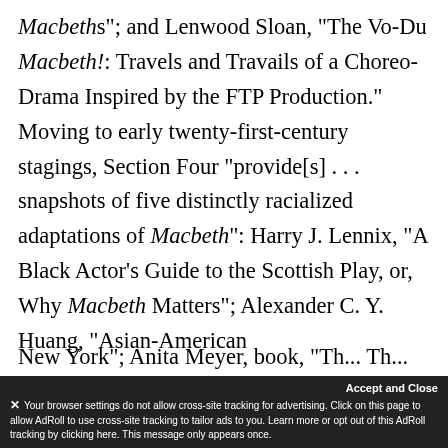Macbeths"; and Lenwood Sloan, "The Vo-Du Macbeth!: Travels and Travails of a Choreo-Drama Inspired by the FTP Production." Moving to early twenty-first-century stagings, Section Four "provide[s] . . . snapshots of five distinctly racialized adaptations of Macbeth": Harry J. Lennix, "A Black Actor's Guide to the Scottish Play, or, Why Macbeth Matters"; Alexander C. Y. Huang, "Asian-American
New York"; Anita Meyer, book, "Th... Th...
Your browser settings do not allow cross-site tracking for advertising. Click on this page to allow AdRoll to use cross-site tracking to tailor ads to you. Learn more or opt out of this AdRoll tracking by clicking here. This message only appears once.